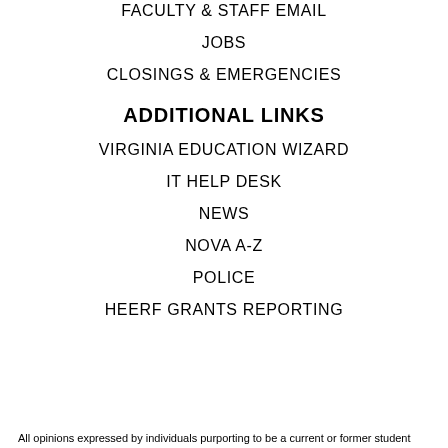FACULTY & STAFF EMAIL
JOBS
CLOSINGS & EMERGENCIES
ADDITIONAL LINKS
VIRGINIA EDUCATION WIZARD
IT HELP DESK
NEWS
NOVA A-Z
POLICE
HEERF GRANTS REPORTING
All opinions expressed by individuals purporting to be a current or former student